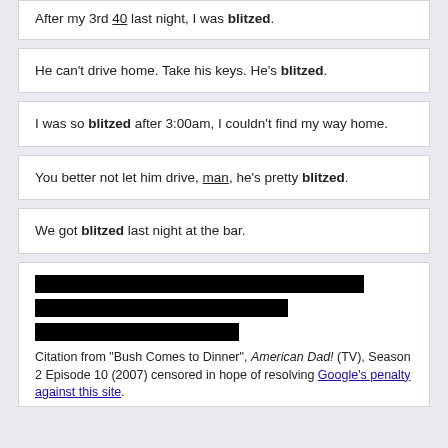After my 3rd 40 last night, I was blitzed.
He can't drive home. Take his keys. He's blitzed.
I was so blitzed after 3:00am, I couldn't find my way home.
You better not let him drive, man, he's pretty blitzed.
We got blitzed last night at the bar.
[Figure (other): Three redacted black bars of varying widths]
Citation from "Bush Comes to Dinner", American Dad! (TV), Season 2 Episode 10 (2007) censored in hope of resolving Google's penalty against this site.